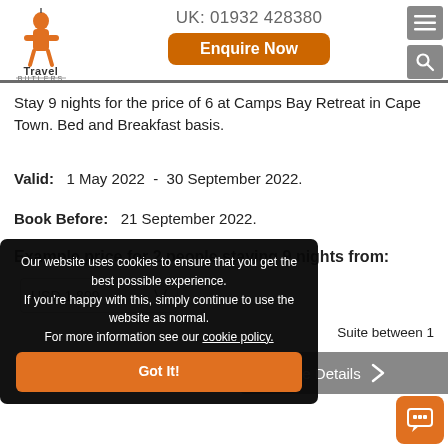UK: 01932 428380
Stay 9 nights for the price of 6 at Camps Bay Retreat in Cape Town. Bed and Breakfast basis.
Valid: 1 May 2022 - 30 September 2022.
Book Before: 21 September 2022.
Example price for 2 people staying 9 nights from:
USD 1,899
Suite between 1
Our website uses cookies to ensure that you get the best possible experience. If you're happy with this, simply continue to use the website as normal. For more information see our cookie policy.
Got It!
e Details